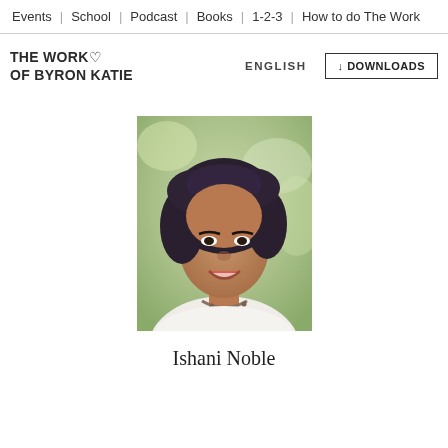Events | School | Podcast | Books | 1-2-3 | How to do The Work
THE WORK OF BYRON KATIE
ENGLISH
↓ DOWNLOADS
[Figure (photo): Portrait photo of Ishani Noble, a woman with dark curly hair, smiling, wearing a beaded necklace and white top, with a green blurred background]
Ishani Noble